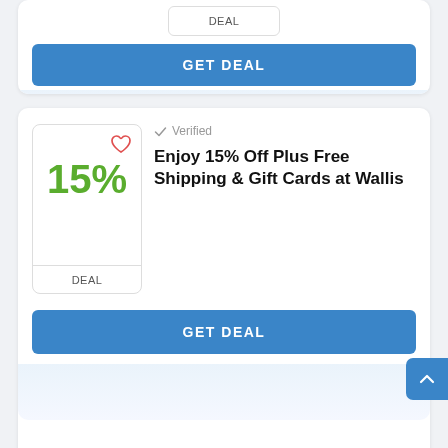[Figure (screenshot): Partial deal card at top showing DEAL label and GET DEAL button]
GET DEAL
[Figure (screenshot): Deal card showing 15% discount badge with heart icon, Verified label, deal title, and GET DEAL button]
Verified
Enjoy 15% Off Plus Free Shipping & Gift Cards at Wallis
GET DEAL
[Figure (screenshot): Partial deal card at bottom showing heart icon and New Seasonal Discount title beginning]
Verified
New Seasonal Discount